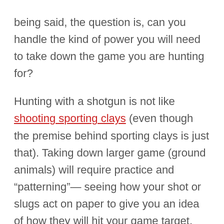being said, the question is, can you handle the kind of power you will need to take down the game you are hunting for?
Hunting with a shotgun is not like shooting sporting clays (even though the premise behind sporting clays is just that). Taking down larger game (ground animals) will require practice and “patterning”— seeing how your shot or slugs act on paper to give you an idea of how they will hit your game target.
Consideration should also be given to more specialized shotguns for non-flighted game like slug guns—shotguns with rifled barrels designed exclusively for the use of slugs and not shot. A